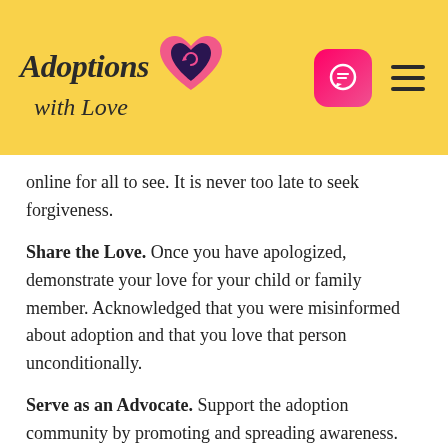[Figure (logo): Adoptions with Love logo with pink heart icon, on yellow background header, plus chat bubble icon and hamburger menu]
online for all to see. It is never too late to seek forgiveness.
Share the Love. Once you have apologized, demonstrate your love for your child or family member. Acknowledged that you were misinformed about adoption and that you love that person unconditionally.
Serve as an Advocate. Support the adoption community by promoting and spreading awareness. You do not need to be a part of the adoption triad to learn about their experience and join the adoption awareness movement. This will also serve as a great example for others who may have found your prank or joke humorous – or those who have followed